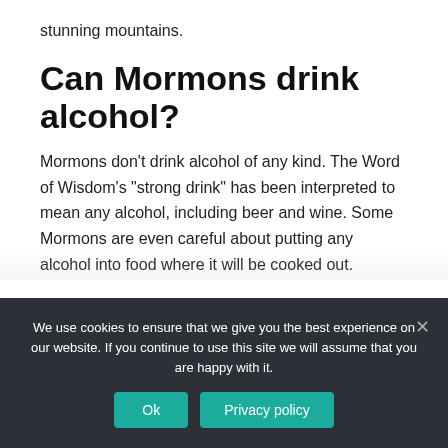stunning mountains.
Can Mormons drink alcohol?
Mormons don't drink alcohol of any kind. The Word of Wisdom's "strong drink" has been interpreted to mean any alcohol, including beer and wine. Some Mormons are even careful about putting any alcohol into food where it will be cooked out.
We use cookies to ensure that we give you the best experience on our website. If you continue to use this site we will assume that you are happy with it.
Ok
Privacy policy